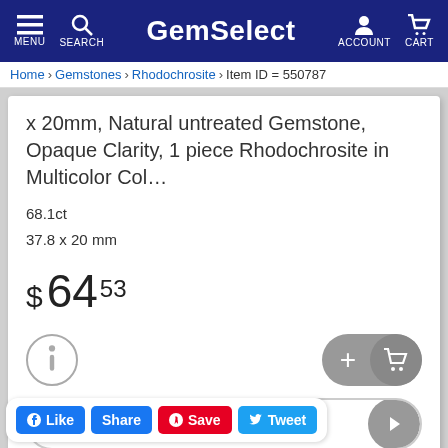GemSelect — MENU SEARCH ACCOUNT CART
Home > Gemstones > Rhodochrosite > Item ID = 550787
x 20mm, Natural untreated Gemstone, Opaque Clarity, 1 piece Rhodochrosite in Multicolor Col…
68.1ct
37.8 x 20 mm
$ 64 53
[Figure (screenshot): Info button (circle with i), Add to cart button (+ with cart icon), Buy Now button with arrow]
Buy Now
Like  Share  Save  Tweet